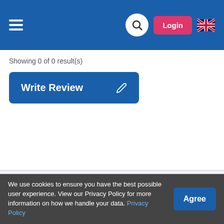Navigation header with hamburger menu, search, login, and UK flag
Showing 0 of 0 result(s)
Write Review
/ Register / List Your Casino / About / Terms & Conditions / Privacy Policy /
Copyright © 2019 TheCasinoDB.com. All Rights Reserved.
We use cookies to ensure you have the best possible user experience. View our Privacy Policy for more information on how we handle your data. Privacy Policy